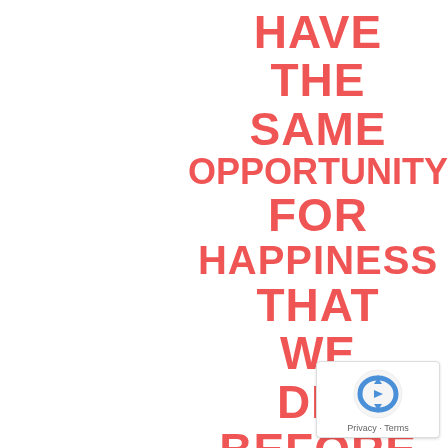HAVE THE SAME OPPORTUNITY FOR HAPPINESS THAT WE DID BEFORE
[Figure (logo): reCAPTCHA badge with circular arrow icon and Privacy - Terms text]